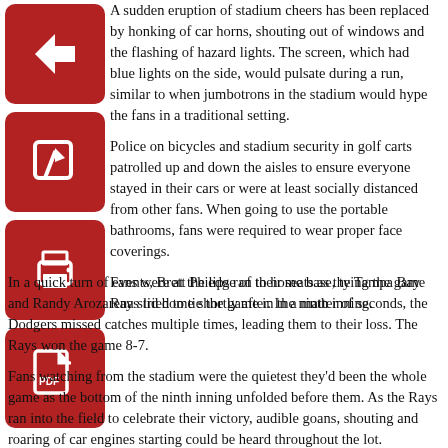A sudden eruption of stadium cheers has been replaced by honking of car horns, shouting out of windows and the flashing of hazard lights. The screen, which had blue lights on the side, would pulsate during a run, similar to when jumbotrons in the stadium would hype the fans in a traditional setting.
[Figure (illustration): Red square icon with white left-pointing arrow (back/navigation icon)]
Police on bicycles and stadium security in golf carts patrolled up and down the aisles to ensure everyone stayed in their cars or were at least socially distanced from other fans. When going to use the portable bathrooms, fans were required to wear proper face coverings.
[Figure (illustration): Red square icon with white edit/pencil icon]
[Figure (illustration): Red square icon with white print/printer icon]
[Figure (illustration): Red square icon with white PDF document icon]
Fans were at the edge of their seats as the Tampa Bay Rays tried to tie the game in the ninth inning.
In a quick turn of events, Brett Philips ran to home base, tying the game and Randy Arozarena slid home shortly after. In a matter of seconds, the Dodgers missed catches multiple times, leading them to their loss. The Rays won the game 8-7.
Fans watching from the stadium were the quietest they'd been the whole game as the bottom of the ninth inning unfolded before them. As the Rays ran into the field to celebrate their victory, audible goans, shouting and roaring of car engines starting could be heard throughout the lot.